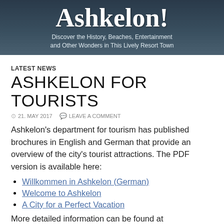[Figure (illustration): Banner header image with dark blue-grey coastal background showing 'Ashkelon!' in large bold white serif font, with subtitle 'Discover the History, Beaches, Entertainment and Other Wonders in This Lively Resort Town']
LATEST NEWS
ASHKELON FOR TOURISTS
21. MAY 2017   LEAVE A COMMENT
Ashkelon's department for tourism has published brochures in English and German that provide an overview of the city's tourist attractions. The PDF version is available here:
Willkommen in Ashkelon (German)
Welcome to Ashkelon
A City for a Perfect Vacation
More detailed information can be found at http://ashkelon.perfection.ws/en/